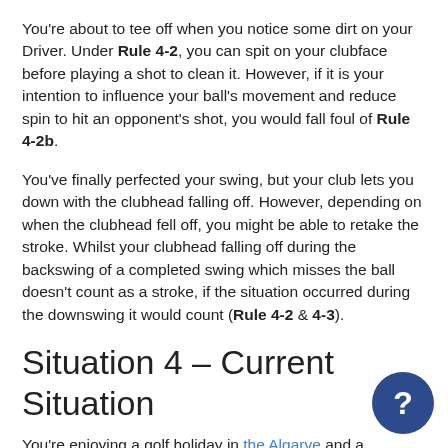You're about to tee off when you notice some dirt on your Driver. Under Rule 4-2, you can spit on your clubface before playing a shot to clean it. However, if it is your intention to influence your ball's movement and reduce spin to hit an opponent's shot, you would fall foul of Rule 4-2b.
You've finally perfected your swing, but your club lets you down with the clubhead falling off. However, depending on when the clubhead fell off, you might be able to retake the stroke. Whilst your clubhead falling off during the backswing of a completed swing which misses the ball doesn't count as a stroke, if the situation occurred during the downswing it would count (Rule 4-2 & 4-3).
Situation 4 – Current Situation
You're enjoying a golf holiday in the Algarve and are having a round at Quinta de Cima Golf Course. Things were going great until your ball landed in the stream